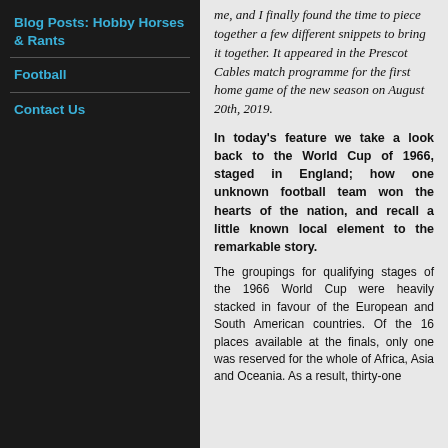Blog Posts: Hobby Horses & Rants
Football
Contact Us
me, and I finally found the time to piece together a few different snippets to bring it together. It appeared in the Prescot Cables match programme for the first home game of the new season on August 20th, 2019.
In today's feature we take a look back to the World Cup of 1966, staged in England; how one unknown football team won the hearts of the nation, and recall a little known local element to the remarkable story.
The groupings for qualifying stages of the 1966 World Cup were heavily stacked in favour of the European and South American countries. Of the 16 places available at the finals, only one was reserved for the whole of Africa, Asia and Oceania. As a result, thirty-one